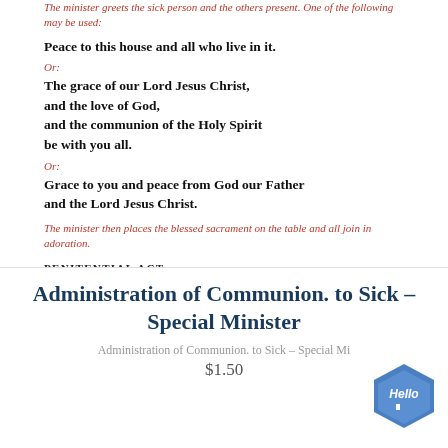The minister greets the sick person and the others present. One of the following may be used:
Peace to this house and all who live in it.
Or:
The grace of our Lord Jesus Christ, and the love of God, and the communion of the Holy Spirit be with you all.
Or:
Grace to you and peace from God our Father and the Lord Jesus Christ.
The minister then places the blessed sacrament on the table and all join in adoration.
PENITENTIAL ACT
The minister invites the sick person and all present to join in the penitential act, using these words:
Brothers and sisters, let us acknowledge our sins, and so prepare ourselves for this sacred celebration.
Administration of Communion. to Sick – Special Minister
Administration of Communion. to Sick – Special Mi
$1.50